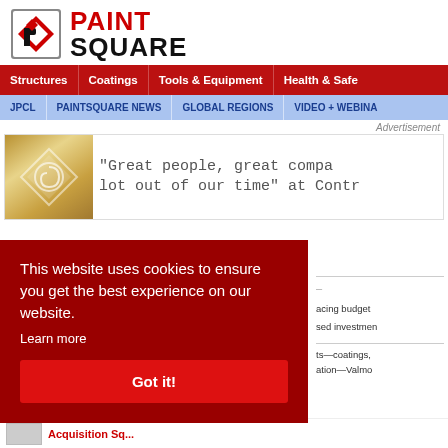[Figure (logo): PaintSquare logo with icon and red/black text]
Structures | Coatings | Tools & Equipment | Health & Safety
JPCL | PAINTSQUARE NEWS | GLOBAL REGIONS | VIDEO + WEBINARS
Advertisement
[Figure (photo): Advertisement banner: Great people, great compa... lot out of our time at Contr...]
This website uses cookies to ensure you get the best experience on our website.
Learn more
Got it!
acing budget sed investmen
ts—coatings, ation—Valmo
Acquisition Sq...